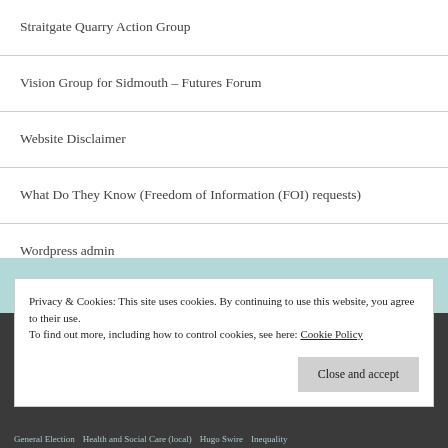Straitgate Quarry Action Group
Vision Group for Sidmouth – Futures Forum
Website Disclaimer
What Do They Know (Freedom of Information (FOI) requests)
Wordpress admin
Privacy & Cookies: This site uses cookies. By continuing to use this website, you agree to their use. To find out more, including how to control cookies, see here: Cookie Policy
Close and accept
General Election  Health and Social Care (local)  Hugo Swire  Inequality